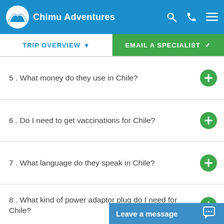Chimu Adventures
TRIP OVERVIEW
EMAIL A SPECIALIST
5 . What money do they use in Chile?
6 . Do I need to get vaccinations for Chile?
7 . What language do they speak in Chile?
8 . What kind of power adaptor plug do I need for Chile?
9 . What is the religion of Chile?
10 . What should I pack to travel in Chile?
11 . Do I need to he...
Leave a message